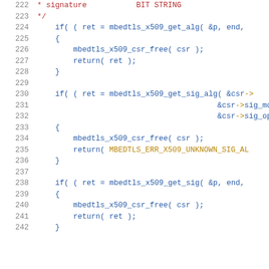Code listing lines 222-242, C source code showing x509 CSR parsing functions